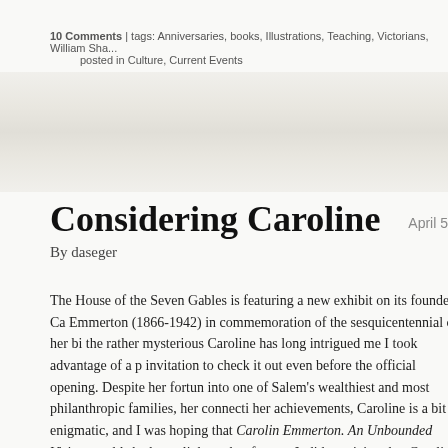10 Comments  |  tags: Anniversaries, books, Illustrations, Teaching, Victorians, William Sha... posted in Culture, Current Events
[Figure (illustration): Faded decorative illustration spanning the width of the page, showing a muted landscape or historical scene with light gray and beige tones.]
Considering Caroline
By daseger
April 5
The House of the Seven Gables is featuring a new exhibit on its founder, Ca... Emmerton (1866-1942) in commemoration of the sesquicentennial of her bi... the rather mysterious Caroline has long intrigued me I took advantage of a p... invitation to check it out even before the official opening. Despite her fortun... into one of Salem's wealthiest and most philanthropic families, her connecti... her achievements, Caroline is a bit enigmatic, and I was hoping that Caroline Emmerton. An Unbounded Vision would shed new light on her for me. It did suspicion that Caroline can only really be known in context rather than strict... own was confirmed. The exhibit actually presents Caroline in several conte... through these perspectives that we come to know her: the wealth, privilege...